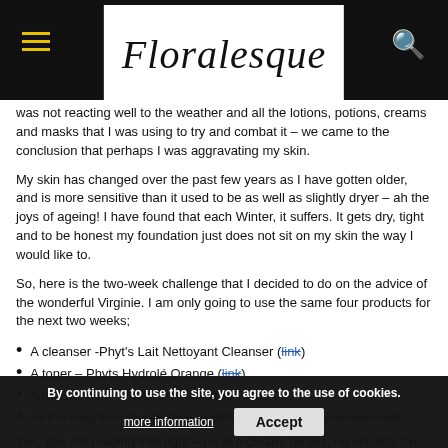Floralesque
was not reacting well to the weather and all the lotions, potions, creams and masks that I was using to try and combat it – we came to the conclusion that perhaps I was aggravating my skin.
My skin has changed over the past few years as I have gotten older, and is more sensitive than it used to be as well as slightly dryer – ah the joys of ageing! I have found that each Winter, it suffers. It gets dry, tight and to be honest my foundation just does not sit on my skin the way I would like to.
So, here is the two-week challenge that I decided to do on the advice of the wonderful Virginie. I am only going to use the same four products for the next two weeks;
A cleanser -Phyt's Lait Nettoyant Cleanser (link)
A toner – Phyts Hydrolé Orange (link)
A moisturiser – Phyts Crême Hydra Riche (link)
SPF – Phyt's Fluide Protecteur SPF 50 (previous full review here)
Yes, you are reading that right – no eye cream, no oils, no serums, no acids and no face masks – all of which would be part of my normal routine